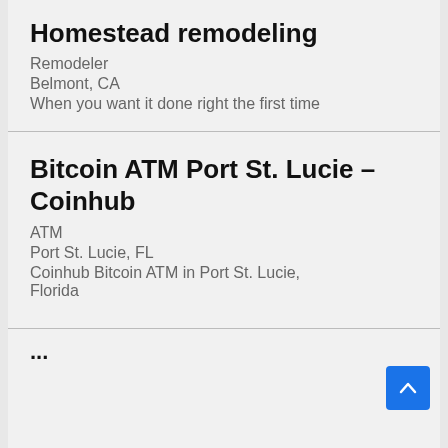Homestead remodeling
Remodeler
Belmont, CA
When you want it done right the first time
Bitcoin ATM Port St. Lucie – Coinhub
ATM
Port St. Lucie, FL
Coinhub Bitcoin ATM in Port St. Lucie, Florida